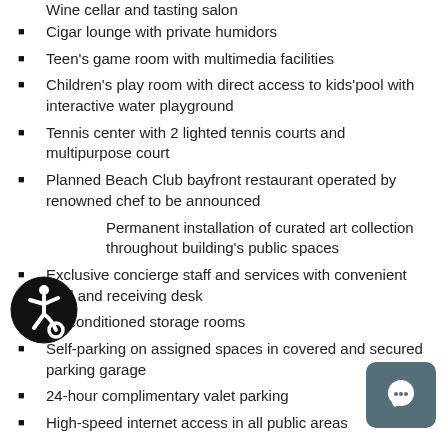Wine cellar and tasting salon
Cigar lounge with private humidors
Teen's game room with multimedia facilities
Children's play room with direct access to kids'pool with interactive water playground
Tennis center with 2 lighted tennis courts and multipurpose court
Planned Beach Club bayfront restaurant operated by renowned chef to be announced
Permanent installation of curated art collection throughout building's public spaces
Exclusive concierge staff and services with convenient mail and receiving desk
Air conditioned storage rooms
Self-parking on assigned spaces in covered and secured parking garage
24-hour complimentary valet parking
High-speed internet access in all public areas